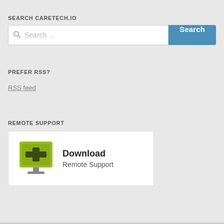SEARCH CARETECH.IO
[Figure (screenshot): Search bar with text input placeholder 'Search ...' and a blue 'Search' button]
PREFER RSS?
RSS feed
REMOTE SUPPORT
[Figure (screenshot): Download Remote Support widget with green monitor icon with plus sign, bold text 'Download' and subtitle 'Remote Support']